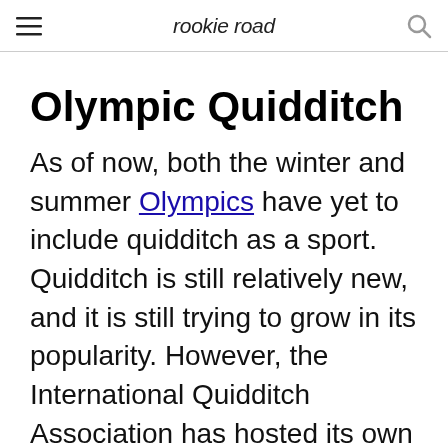rookie road
Olympic Quidditch
As of now, both the winter and summer Olympics have yet to include quidditch as a sport. Quidditch is still relatively new, and it is still trying to grow in its popularity. However, the International Quidditch Association has hosted its own World Cup beginning in 2012 in London. There were five countries that attended this World Cup including England, Australia, Canada, United States, and France. Since then, there has been one every other year